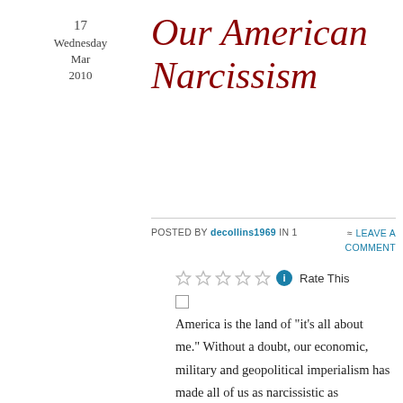17
Wednesday
Mar
2010
Our American Narcissism
Posted by decollins1969 in 1
≈ Leave a comment
Rate This
America is the land of "it's all about me." Without a doubt, our economic, military and geopolitical imperialism has made all of us as narcissistic as Napoleon at the height of his power in France. Or as self-centered as Ted Bundy in the middle of a misogynistic killing spree. Or as self-absorbed (minus any self-reflection) as Steven Colbert appears to be while in character on The Colbert Report. It's a shame, a symptom of sixty-five years as a